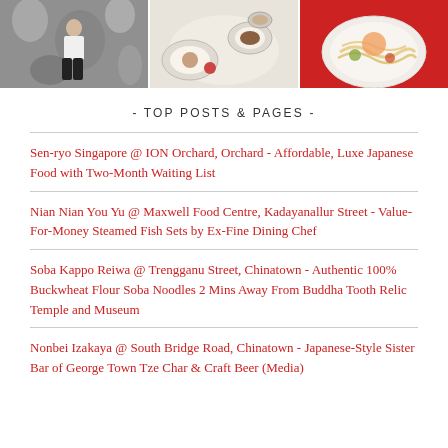[Figure (photo): Three food/lifestyle photos in a horizontal strip: left photo shows a person standing in front of black and white art; center photo shows decorative plates with pastries and tea; right photo shows a bowl of noodles/pasta on a red background]
- TOP POSTS & PAGES -
Sen-ryo Singapore @ ION Orchard, Orchard - Affordable, Luxe Japanese Food with Two-Month Waiting List
Nian Nian You Yu @ Maxwell Food Centre, Kadayanallur Street - Value-For-Money Steamed Fish Sets by Ex-Fine Dining Chef
Soba Kappo Reiwa @ Trengganu Street, Chinatown - Authentic 100% Buckwheat Flour Soba Noodles 2 Mins Away From Buddha Tooth Relic Temple and Museum
Nonbei Izakaya @ South Bridge Road, Chinatown - Japanese-Style Sister Bar of George Town Tze Char & Craft Beer (Media)